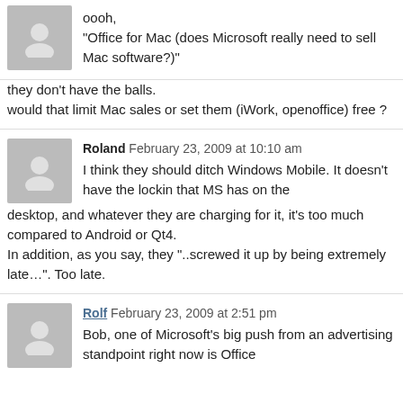oooh,
"Office for Mac (does Microsoft really need to sell Mac software?)"
they don't have the balls.
would that limit Mac sales or set them (iWork, openoffice) free ?
Roland  February 23, 2009 at 10:10 am
I think they should ditch Windows Mobile. It doesn't have the lockin that MS has on the desktop, and whatever they are charging for it, it's too much compared to Android or Qt4.
In addition, as you say, they "..screwed it up by being extremely late…". Too late.
Rolf  February 23, 2009 at 2:51 pm
Bob, one of Microsoft's big push from an advertising standpoint right now is Office